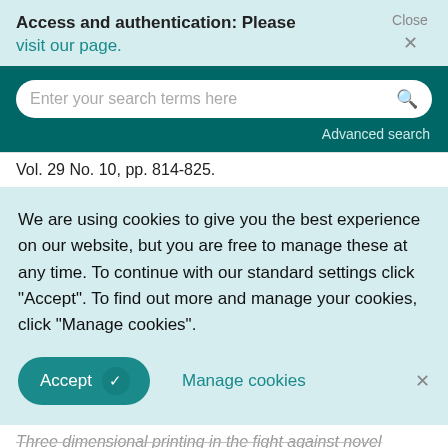Access and authentication: Please visit our page. Close ×
Enter your search terms here
Advanced search
Vol. 29 No. 10, pp. 814-825.
We are using cookies to give you the best experience on our website, but you are free to manage these at any time. To continue with our standard settings click "Accept". To find out more and manage your cookies, click "Manage cookies".
Accept   Manage cookies   ×
Three dimensional printing in the fight against novel virus COVID-19: technology helping society during an